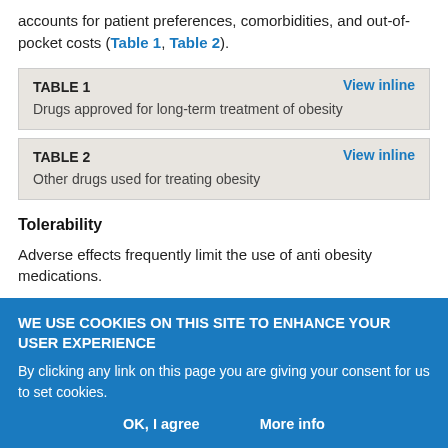accounts for patient preferences, comorbidities, and out-of-pocket costs (Table 1, Table 2).
TABLE 1
Drugs approved for long-term treatment of obesity
TABLE 2
Other drugs used for treating obesity
Tolerability
Adverse effects frequently limit the use of anti obesity medications.
WE USE COOKIES ON THIS SITE TO ENHANCE YOUR USER EXPERIENCE
By clicking any link on this page you are giving your consent for us to set cookies.
OK, I agree    More info